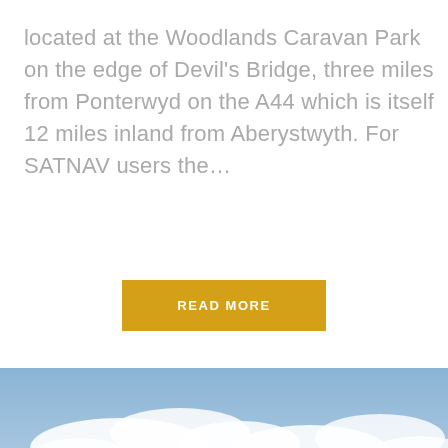located at the Woodlands Caravan Park on the edge of Devil's Bridge, three miles from Ponterwyd on the A44 which is itself 12 miles inland from Aberystwyth. For SATNAV users the…
READ MORE
[Figure (photo): Panoramic landscape photograph showing rolling green hills and valleys under a partly cloudy blue sky, taken from an elevated viewpoint in Wales.]